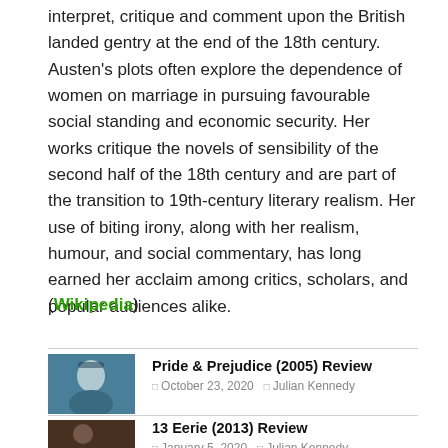interpret, critique and comment upon the British landed gentry at the end of the 18th century. Austen's plots often explore the dependence of women on marriage in pursuing favourable social standing and economic security. Her works critique the novels of sensibility of the second half of the 18th century and are part of the transition to 19th-century literary realism. Her use of biting irony, along with her realism, humour, and social commentary, has long earned her acclaim among critics, scholars, and popular audiences alike.
(Wikipedia)
[Figure (photo): Thumbnail image for Pride & Prejudice 2005 review, showing a dark-haired woman against a blue/teal background]
Pride & Prejudice (2005) Review
October 23, 2020  Julian Kennedy
[Figure (photo): Thumbnail image for 13 Eerie 2013 review, showing a dark indoor scene]
13 Eerie (2013) Review
January 5, 2020  Julian Kennedy